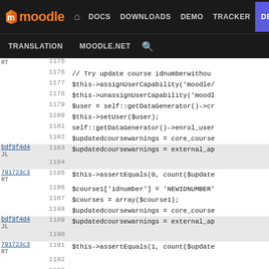moodle | DOCS DOWNLOADS DEMO TRACKER DEV | TRANSLATION MOODLE.NET
[Figure (screenshot): Moodle developer documentation site navigation bar with logo, nav links (DOCS, DOWNLOADS, DEMO, TRACKER, DEV highlighted in blue), and secondary bar (TRANSLATION, MOODLE.NET, search icon)]
Code view showing PHP file lines 1175-1201 with commit annotations (bdf9f4d4/JL, 791723c3/RT) and code content including updatecourse test methods